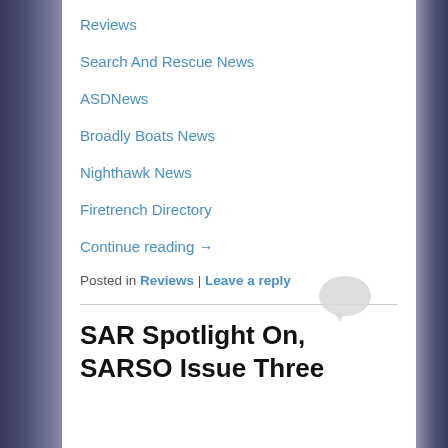Reviews
Search And Rescue News
ASDNews
Broadly Boats News
Nighthawk News
Firetrench Directory
Continue reading →
Posted in Reviews | Leave a reply
SAR Spotlight On, SARSO Issue Three